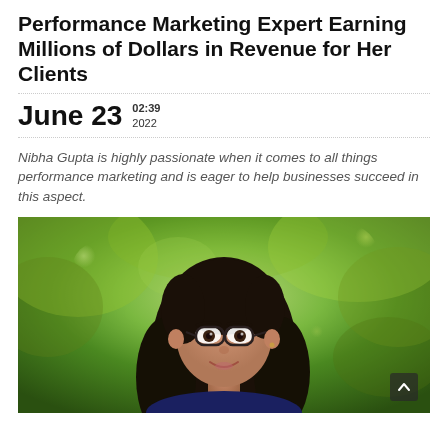Performance Marketing Expert Earning Millions of Dollars in Revenue for Her Clients
June 23  02:39  2022
Nibha Gupta is highly passionate when it comes to all things performance marketing and is eager to help businesses succeed in this aspect.
[Figure (photo): Portrait photograph of Nibha Gupta, a young woman with long dark hair and glasses, smiling in front of a green leafy background outdoors.]